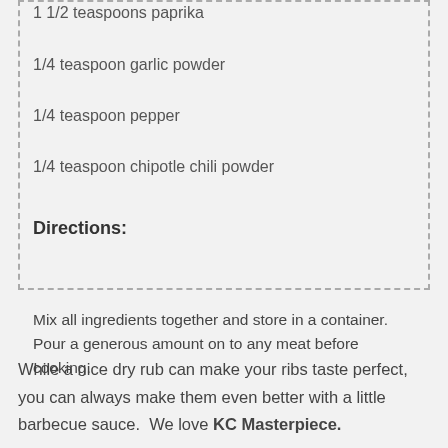1 1/2 teaspoons paprika
1/4 teaspoon garlic powder
1/4 teaspoon pepper
1/4 teaspoon chipotle chili powder
Directions:
Mix all ingredients together and store in a container. Pour a generous amount on to any meat before cooking.
While a nice dry rub can make your ribs taste perfect, you can always make them even better with a little barbecue sauce.  We love KC Masterpiece.